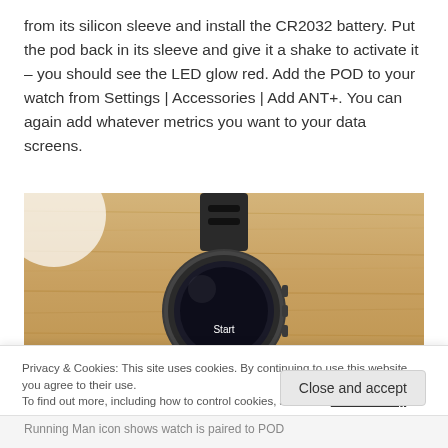from its silicon sleeve and install the CR2032 battery. Put the pod back in its sleeve and give it a shake to activate it – you should see the LED glow red. Add the POD to your watch from Settings | Accessories | Add ANT+. You can again add whatever metrics you want to your data screens.
[Figure (photo): Photo of a sports watch (Suunto or similar) lying face-up on a wooden surface showing 'Start' on the screen, with a white circular object partially visible in the top-left corner.]
Privacy & Cookies: This site uses cookies. By continuing to use this website, you agree to their use.
To find out more, including how to control cookies, see here: Cookie Policy
Close and accept
Running Man icon shows watch is paired to POD